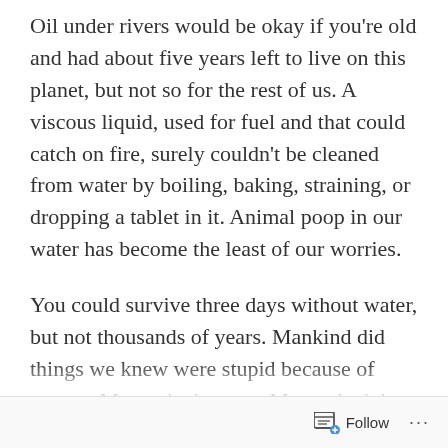Oil under rivers would be okay if you're old and had about five years left to live on this planet, but not so for the rest of us. A viscous liquid, used for fuel and that could catch on fire, surely couldn't be cleaned from water by boiling, baking, straining, or dropping a tablet in it. Animal poop in our water has become the least of our worries.
You could survive three days without water, but not thousands of years. Mankind did things we knew were stupid because of money. Money had power. Money had the power to make people do stupid things.
Instead of humming “water, water everywhere, but not a drop to drink,” I’ve come up with a list of emergency water sources when yours has gone to hell and moist...
Follow ···